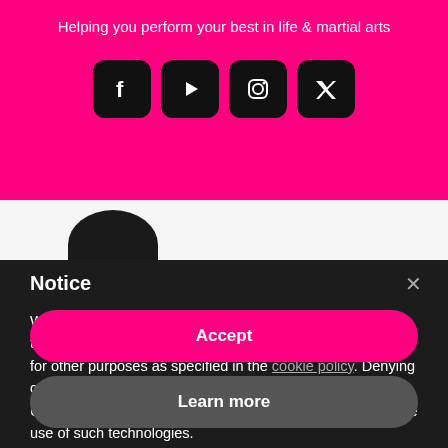Helping you perform your best in life & martial arts
[Figure (screenshot): Four social media icon buttons (Facebook, YouTube, Instagram, Twitter) on pink background]
Notice
We and selected third parties use cookies or similar technologies for technical purposes and, with your consent, for other purposes as specified in the cookie policy. Denying consent may make related features unavailable.
Use the “Accept” button or close this notice to consent to the use of such technologies.
Accept
Learn more